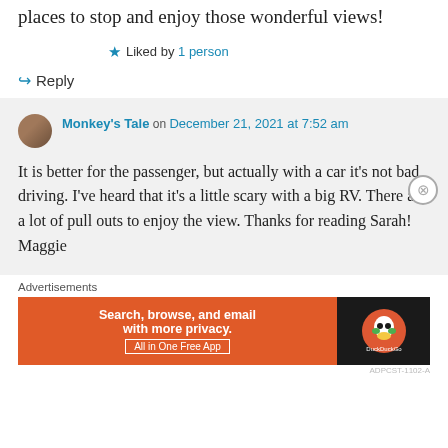places to stop and enjoy those wonderful views!
★ Liked by 1 person
↪ Reply
Monkey's Tale on December 21, 2021 at 7:52 am
It is better for the passenger, but actually with a car it's not bad driving. I've heard that it's a little scary with a big RV. There are a lot of pull outs to enjoy the view. Thanks for reading Sarah! Maggie
Advertisements
[Figure (screenshot): DuckDuckGo advertisement banner: orange left section with text 'Search, browse, and email with more privacy. All in One Free App' and dark right section with DuckDuckGo duck logo]